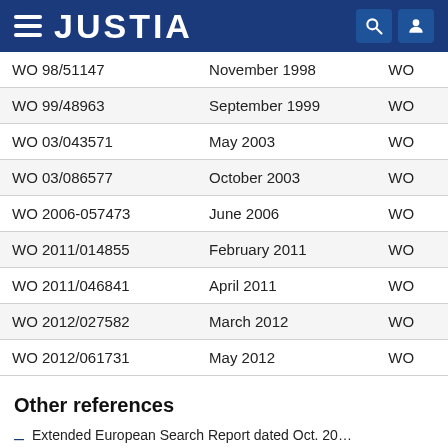JUSTIA
| WO 98/51147 | November 1998 | WO |
| WO 99/48963 | September 1999 | WO |
| WO 03/043571 | May 2003 | WO |
| WO 03/086577 | October 2003 | WO |
| WO 2006-057473 | June 2006 | WO |
| WO 2011/014855 | February 2011 | WO |
| WO 2011/046841 | April 2011 | WO |
| WO 2012/027582 | March 2012 | WO |
| WO 2012/061731 | May 2012 | WO |
Other references
Extended European Search Report dated Oct. 20…